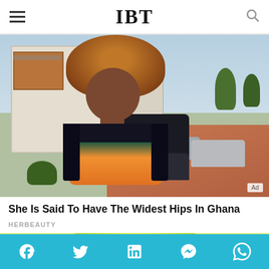IBT
[Figure (photo): Woman with large curly hair wearing a colorful floral top and black jacket/cardigan, standing on a street with buildings and cars in the background, Ghana.]
She Is Said To Have The Widest Hips In Ghana
HERBEAUTY
[Figure (photo): Partial photo of a person with bright green hair, cropped at top of the image.]
Social share bar with Facebook, Twitter, LinkedIn, Messenger, WhatsApp icons